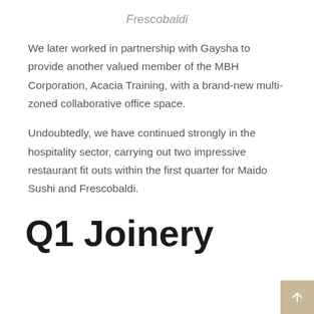Frescobaldi
We later worked in partnership with Gaysha to provide another valued member of the MBH Corporation, Acacia Training, with a brand-new multi-zoned collaborative office space.
Undoubtedly, we have continued strongly in the hospitality sector, carrying out two impressive restaurant fit outs within the first quarter for Maido Sushi and Frescobaldi.
Q1 Joinery